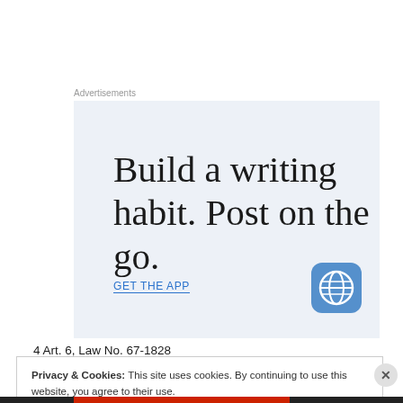Advertisements
[Figure (illustration): WordPress mobile app advertisement with text 'Build a writing habit. Post on the go.' on a light blue background, with 'GET THE APP' link and WordPress globe icon in blue.]
4 Art. 6, Law No. 67-1828
Privacy & Cookies: This site uses cookies. By continuing to use this website, you agree to their use.
To find out more, including how to control cookies, see here: Cookie Policy
Close and accept